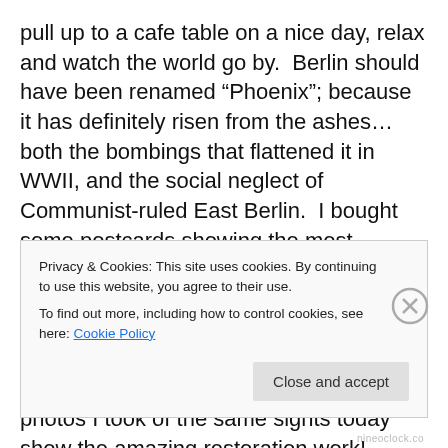pull up to a cafe table on a nice day, relax and watch the world go by.  Berlin should have been renamed “Phoenix”; because it has definitely risen from the ashes…both the bombings that flattened it in WWII, and the social neglect of Communist-ruled East Berlin.  I bought some postcards showing the most famous Berlin sights right after the Allied bombings…twisted metal amongst piles of crumbled, burning masonry…being stared at by stunned Berliners in total shock. These images, alongside the photos I took of the same sights today show the amazing restoration work! Gendarmenmarkt is just one of the sights portrayed, as is
Privacy & Cookies: This site uses cookies. By continuing to use this website, you agree to their use.
To find out more, including how to control cookies, see here: Cookie Policy
Close and accept
nineoclock.co